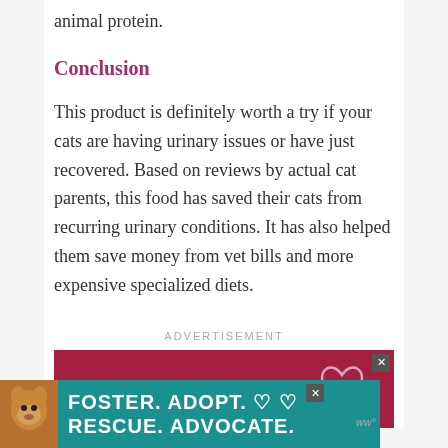animal protein.
Conclusion
This product is definitely worth a try if your cats are having urinary issues or have just recovered. Based on reviews by actual cat parents, this food has saved their cats from recurring urinary conditions. It has also helped them save money from vet bills and more expensive specialized diets.
ADVERTISEMENT
[Figure (photo): Advertisement banner with dark red background showing large text 'FIND' with a heart outline graphic and a close button. Below it, a teal banner advertisement showing a dog image on the left and text 'FOSTER. ADOPT. RESCUE. ADVOCATE.' in white bold letters with heart icons.]